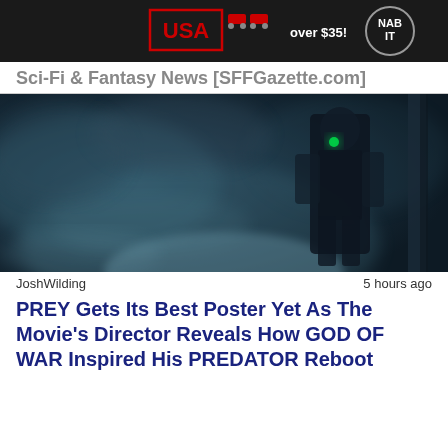[Figure (photo): Advertisement banner with USA logo, red toy trucks, and NAB IT logo on dark background with text 'over $35!']
Sci-Fi & Fantasy News [SFFGazette.com]
[Figure (photo): Dark, moody movie still showing a shadowy humanoid figure (Predator) with glowing green eyes in a foggy, blue-tinted environment]
JoshWilding    5 hours ago
PREY Gets Its Best Poster Yet As The Movie's Director Reveals How GOD OF WAR Inspired His PREDATOR Reboot